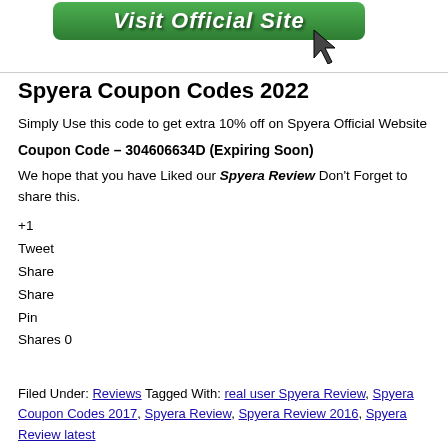[Figure (screenshot): Green 'Visit Official Site' button with a cursor arrow icon to the right]
Spyera Coupon Codes 2022
Simply Use this code to get extra 10% off on Spyera Official Website
Coupon Code – 304606634D (Expiring Soon)
We hope that you have Liked our Spyera Review Don't Forget to share this.
+1
Tweet
Share
Share
Pin
Shares 0
Filed Under: Reviews Tagged With: real user Spyera Review, Spyera Coupon Codes 2017, Spyera Review, Spyera Review 2016, Spyera Review latest